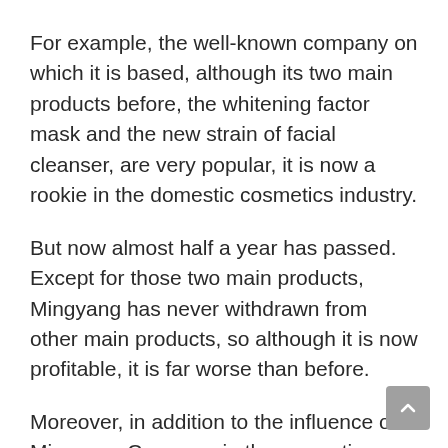For example, the well-known company on which it is based, although its two main products before, the whitening factor mask and the new strain of facial cleanser, are very popular, it is now a rookie in the domestic cosmetics industry.
But now almost half a year has passed. Except for those two main products, Mingyang has never withdrawn from other main products, so although it is now profitable, it is far worse than before.
Moreover, in addition to the influence of Mingyang Company in the cosmetics industry, his layout in Hunan Province, in addition to Mingyang Company, and the media industry that Sun Yue and Zhang's cooperate with, are just starting now.